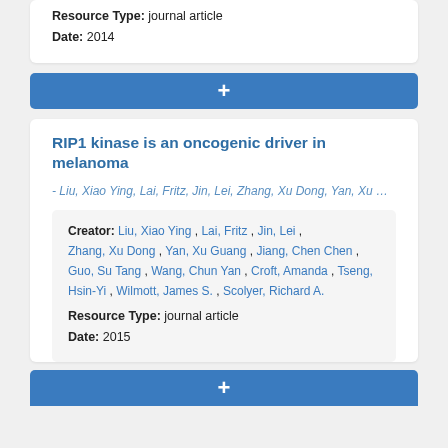Resource Type: journal article
Date: 2014
+
RIP1 kinase is an oncogenic driver in melanoma
- Liu, Xiao Ying, Lai, Fritz, Jin, Lei, Zhang, Xu Dong, Yan, Xu …
Creator: Liu, Xiao Ying, Lai, Fritz, Jin, Lei, Zhang, Xu Dong, Yan, Xu Guang, Jiang, Chen Chen, Guo, Su Tang, Wang, Chun Yan, Croft, Amanda, Tseng, Hsin-Yi, Wilmott, James S., Scolyer, Richard A.
Resource Type: journal article
Date: 2015
+